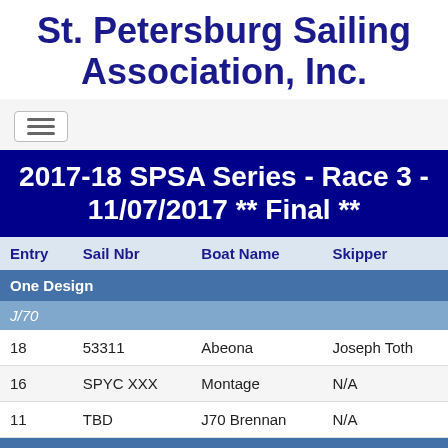St. Petersburg Sailing Association, Inc.
2017-18 SPSA Series - Race 3 - 11/07/2017 ** Final **
| Entry | Sail Nbr | Boat Name | Skipper |
| --- | --- | --- | --- |
| One Design |  |  |  |
| J/70 |  |  |  |
| 18 | 53311 | Abeona | Joseph Toth |
| 16 | SPYC XXX | Montage | N/A |
| 11 | TBD | J70 Brennan | N/A |
| Spinnaker |  |  |  |